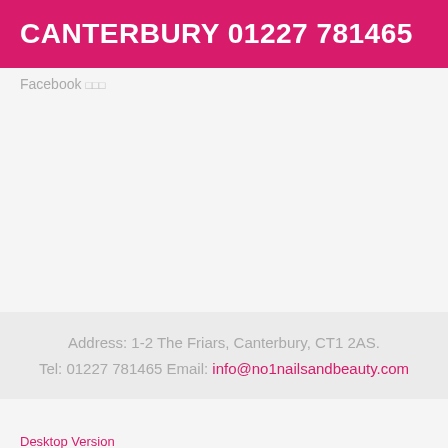CANTERBURY 01227 781465
Facebook ...
Address: 1-2 The Friars, Canterbury, CT1 2AS. Tel: 01227 781465 Email: info@no1nailsandbeauty.com
Desktop Version
Bootstrap is a front-end framework of Twitter, Inc. Code licensed under MIT License.
Font Awesome font licensed under SIL OFL 1.1.